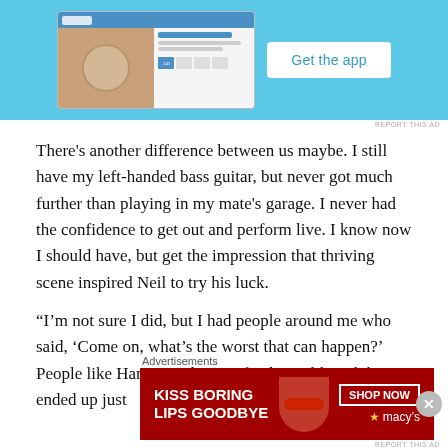[Figure (screenshot): App advertisement banner with phone screenshot and 'Get the app' button on blue background]
REPORT THIS AD
There's another difference between us maybe. I still have my left-handed bass guitar, but never got much further than playing in my mate's garage. I never had the confidence to get out and perform live. I know now I should have, but get the impression that thriving scene inspired Neil to try his luck.
“I’m not sure I did, but I had people around me who said, ‘Come on, what’s the worst that can happen?’ People like Hammy, who was fearless, although he ended up just
Advertisements
[Figure (photo): Macy's lipstick advertisement: 'KISS BORING LIPS GOODBYE' with SHOP NOW button and Macy's logo on red background]